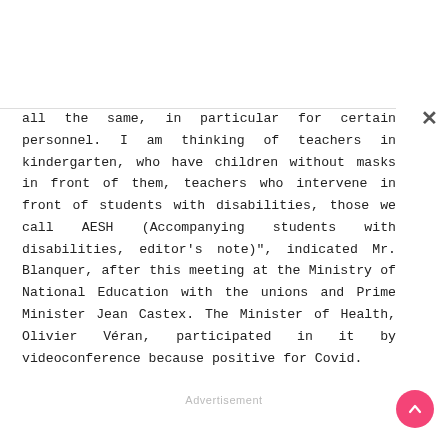all the same, in particular for certain personnel. I am thinking of teachers in kindergarten, who have children without masks in front of them, teachers who intervene in front of students with disabilities, those we call AESH (Accompanying students with disabilities, editor's note)", indicated Mr. Blanquer, after this meeting at the Ministry of National Education with the unions and Prime Minister Jean Castex. The Minister of Health, Olivier Véran, participated in it by videoconference because positive for Covid.
Advertisement